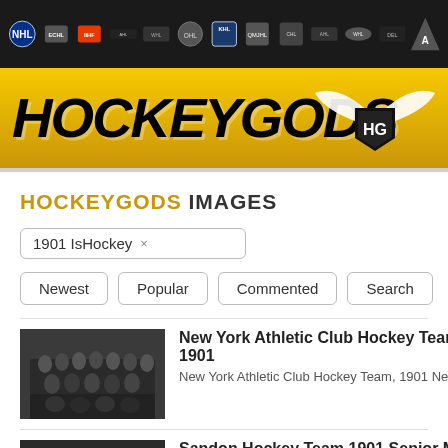HockeyGods navigation bar with league logos
[Figure (logo): HockeyGods logo banner with gold background, bold italic black text HOCKEYGODS and winged HG shield emblem]
HOCKEYGODS IMAGES
1901 IsHockey ×
Newest  Popular  Commented  Search
New York Athletic Club Hockey Team 1901
New York Athletic Club Hockey Team, 1901 New York A
Sandon Hockey Team 1901 Senior Men
Sandon, Sandon Hockey Team, Sandon Hockey Histor